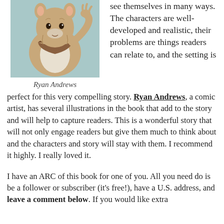[Figure (illustration): Illustrated drawing of an anthropomorphic animal character (ferret or similar) wearing a scarf, done in watercolor style with blue-green background]
Ryan Andrews
see themselves in many ways. The characters are well-developed and realistic, their problems are things readers can relate to, and the setting is perfect for this very compelling story. Ryan Andrews, a comic artist, has several illustrations in the book that add to the story and will help to capture readers. This is a wonderful story that will not only engage readers but give them much to think about and the characters and story will stay with them. I recommend it highly. I really loved it.
I have an ARC of this book for one of you. All you need do is be a follower or subscriber (it's free!), have a U.S. address, and leave a comment below. If you would like extra